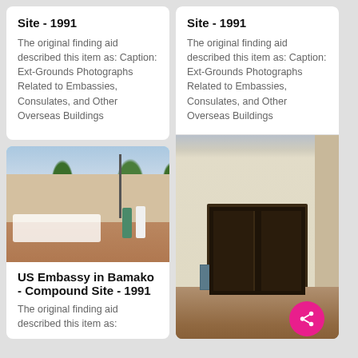Site - 1991
The original finding aid described this item as: Caption: Ext-Grounds Photographs Related to Embassies, Consulates, and Other Overseas Buildings
Site - 1991
The original finding aid described this item as: Caption: Ext-Grounds Photographs Related to Embassies, Consulates, and Other Overseas Buildings
[Figure (photo): Outdoor courtyard of US Embassy in Bamako showing trees, white chairs and tables, and two people standing]
US Embassy in Bamako - Compound Site - 1991
The original finding aid described this item as:
[Figure (photo): Exterior of a building with large dark wooden doors/shutters, light-colored walls, sandy ground]